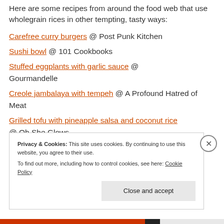Here are some recipes from around the food web that use wholegrain rices in other tempting, tasty ways:
Carefree curry burgers @ Post Punk Kitchen
Sushi bowl @ 101 Cookbooks
Stuffed eggplants with garlic sauce @ Gourmandelle
Creole jambalaya with tempeh @ A Profound Hatred of Meat
Grilled tofu with pineapple salsa and coconut rice @ Oh She Glows
Privacy & Cookies: This site uses cookies. By continuing to use this website, you agree to their use. To find out more, including how to control cookies, see here: Cookie Policy